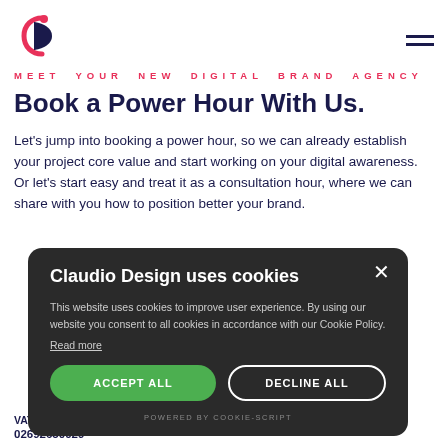[Figure (logo): Claudio Design logo — stylized D/C monogram in dark blue and pink]
MEET YOUR NEW DIGITAL BRAND AGENCY
Book a Power Hour With Us.
Let's jump into booking a power hour, so we can already establish your project core value and start working on your digital awareness. Or let's start easy and treat it as a consultation hour, where we can share with you how to position better your brand.
[Figure (screenshot): Cookie consent popup: 'Claudio Design uses cookies'. Text: 'This website uses cookies to improve user experience. By using our website you consent to all cookies in accordance with our Cookie Policy. Read more'. Buttons: ACCEPT ALL (green), DECLINE ALL (outlined). Footer: POWERED BY COOKIE-SCRIPT]
VAT No: 02692630029